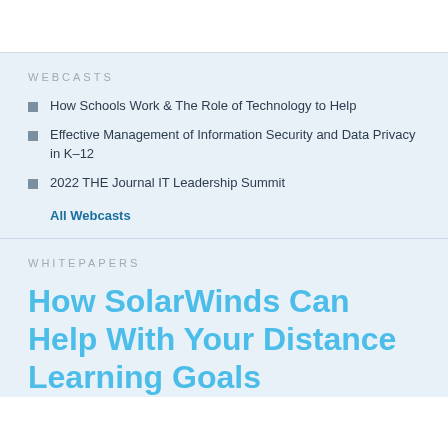WEBCASTS
How Schools Work & The Role of Technology to Help
Effective Management of Information Security and Data Privacy in K–12
2022 THE Journal IT Leadership Summit
All Webcasts
WHITEPAPERS
How SolarWinds Can Help With Your Distance Learning Goals